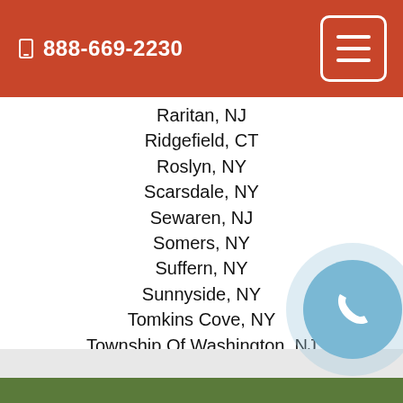888-669-2230
Raritan, NJ
Ridgefield, CT
Roslyn, NY
Scarsdale, NY
Sewaren, NJ
Somers, NY
Suffern, NY
Sunnyside, NY
Tomkins Cove, NY
Township Of Washington, NJ
West Harrison, NY
West Haverstraw, NY
Whippany, NJ
[Figure (illustration): Circular phone call button icon with a white handset on a blue background]